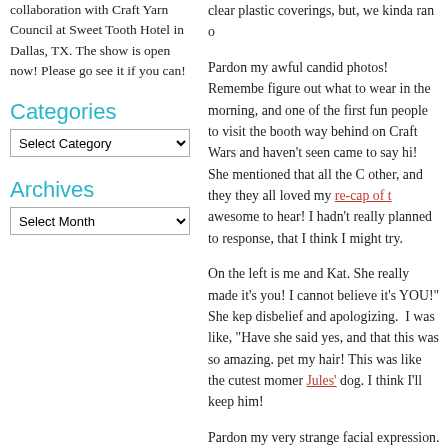collaboration with Craft Yarn Council at Sweet Tooth Hotel in Dallas, TX. The show is open now! Please go see it if you can!
Categories
Select Category
Archives
Select Month
Pardon my awful candid photos! Remember, figure out what to wear in the morning, and one of the first fun people to visit the booth way behind on Craft Wars and haven't seen came to say hi! She mentioned that all the C other, and they they all loved my re-cap of t awesome to hear! I hadn't really planned to response, that I think I might try.
On the left is me and Kat. She really made it's you! I cannot believe it's YOU!" She kep disbelief and apologizing. I was like, "Have she said yes, and that this was so amazing. pet my hair! This was like the cutest momer Jules' dog. I think I'll keep him!
Pardon my very strange facial expression. M her), whom I've known on Livejournal for a v Renegade. Her kids are getting really big an
If you happened to stop by the booth on Sa and Pierce! Rita is my O.G. crochet elf. She